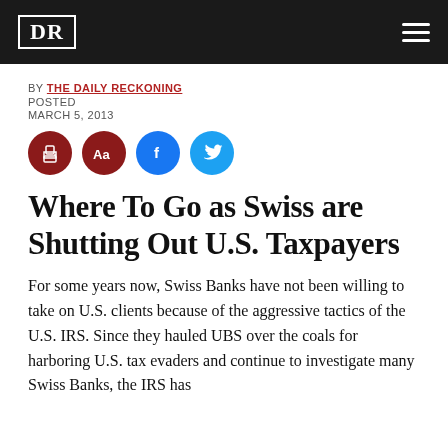DR
BY THE DAILY RECKONING
POSTED
MARCH 5, 2013
[Figure (other): Social sharing buttons: print, font size (Aa), Facebook, Twitter]
Where To Go as Swiss are Shutting Out U.S. Taxpayers
For some years now, Swiss Banks have not been willing to take on U.S. clients because of the aggressive tactics of the U.S. IRS. Since they hauled UBS over the coals for harboring U.S. tax evaders and continue to investigate many Swiss Banks, the IRS has